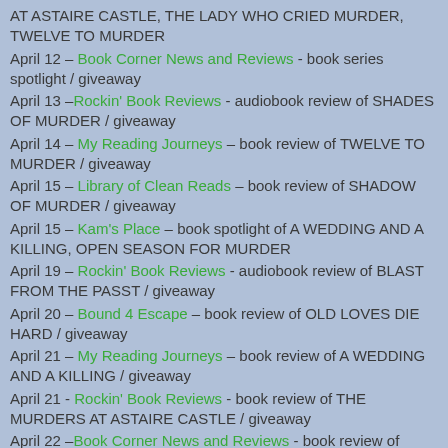AT ASTAIRE CASTLE, THE LADY WHO CRIED MURDER, TWELVE TO MURDER
April 12 – Book Corner News and Reviews - book series spotlight / giveaway
April 13 –Rockin' Book Reviews - audiobook review of SHADES OF MURDER / giveaway
April 14 – My Reading Journeys – book review of TWELVE TO MURDER / giveaway
April 15 – Library of Clean Reads – book review of SHADOW OF MURDER / giveaway
April 15 – Kam's Place – book spotlight of A WEDDING AND A KILLING, OPEN SEASON FOR MURDER
April 19 – Rockin' Book Reviews - audiobook review of BLAST FROM THE PASST / giveaway
April 20 – Bound 4 Escape – book review of OLD LOVES DIE HARD / giveaway
April 21 – My Reading Journeys – book review of A WEDDING AND A KILLING / giveaway
April 21 - Rockin' Book Reviews - book review of THE MURDERS AT ASTAIRE CASTLE / giveaway
April 22 –Book Corner News and Reviews - book review of SHADOW OF MURDER / guest post / giveaway
April 23 – ...book review of THE MURDER AT...